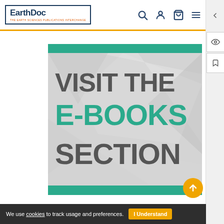EarthDoc — navigation header with logo, search, account, cart icons
[Figure (illustration): EarthDoc website banner advertisement: 'VISIT THE E-BOOKS SECTION' with teal top and bottom bars on a geometric grey background]
We use cookies to track usage and preferences. I Understand